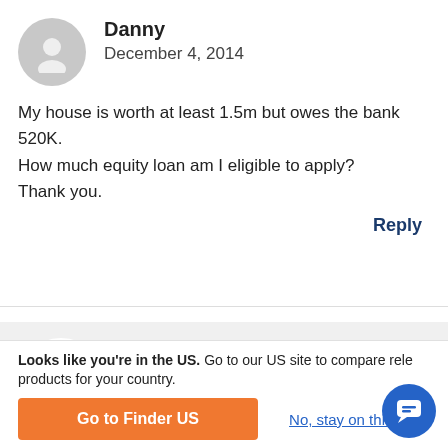[Figure (illustration): Gray placeholder avatar circle with person silhouette icon]
Danny
December 4, 2014
My house is worth at least 1.5m but owes the bank 520K. How much equity loan am I eligible to apply? Thank you.
Reply
[Figure (photo): Profile photo of Shirley, a smiling woman with brown hair]
Shirley
December 4, 2014
Staff
Looks like you're in the US. Go to our US site to compare rele products for your country.
Go to Finder US
No, stay on this page